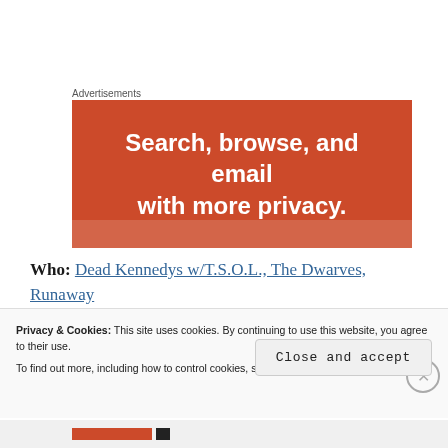Advertisements
[Figure (illustration): Orange advertisement banner reading 'Search, browse, and email with more privacy.']
Who: Dead Kennedys w/T.S.O.L., The Dwarves, Runaway Kids and Reno Divorce
When: Friday, 09.7, 7 p.m.
Where: The Ogden Theatre
Privacy & Cookies: This site uses cookies. By continuing to use this website, you agree to their use.
To find out more, including how to control cookies, see here: Cookie Policy
Close and accept